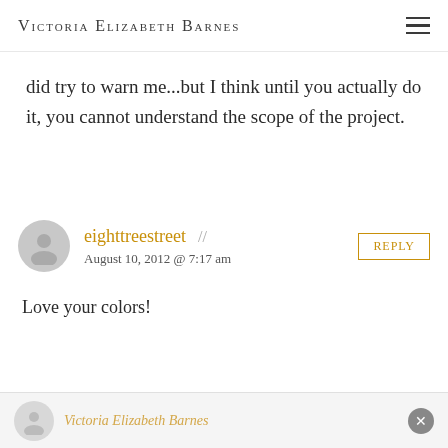Victoria Elizabeth Barnes
renovating a 100 year old house. My husband did try to warn me...but I think until you actually do it, you cannot understand the scope of the project.
eighttreestreet // August 10, 2012 @ 7:17 am
Love your colors!
Victoria Elizabeth Barnes